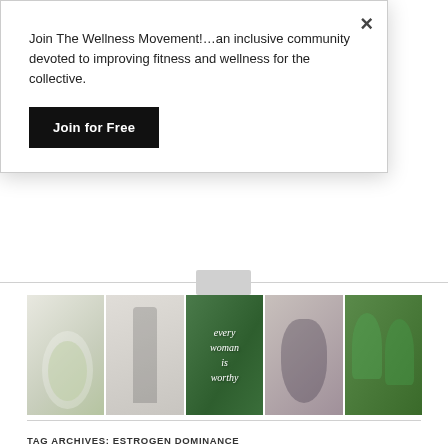Join The Wellness Movement!…an inclusive community devoted to improving fitness and wellness for the collective.
Join for Free
[Figure (photo): A horizontal strip of five wellness/fitness photos: a healthy food plate with greens, a dancer/ballerina at a barre, a green botanical background with text 'every woman is worthy', a woman in a yoga/stretching pose, and green smoothies with herbs.]
TAG ARCHIVES: ESTROGEN DOMINANCE